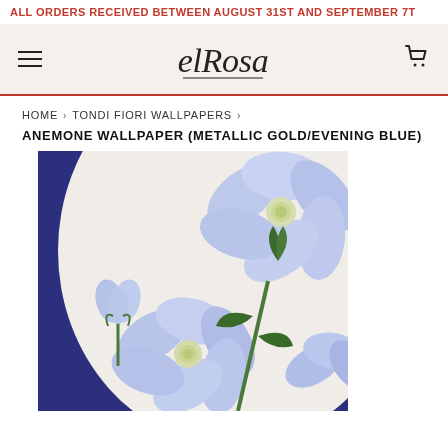ALL ORDERS RECEIVED BETWEEN AUGUST 31ST AND SEPTEMBER 7T
[Figure (logo): El Rosa script logo with hamburger menu icon on left and shopping cart icon on right, on a light beige background]
HOME › TONDI FIORI WALLPAPERS ›
ANEMONE WALLPAPER (METALLIC GOLD/EVENING BLUE)
[Figure (photo): Close-up photo of Anemone Wallpaper in Metallic Gold/Evening Blue colorway, showing light blue anemone flowers with green stems and buds against a navy blue and off-white oval/circular background]